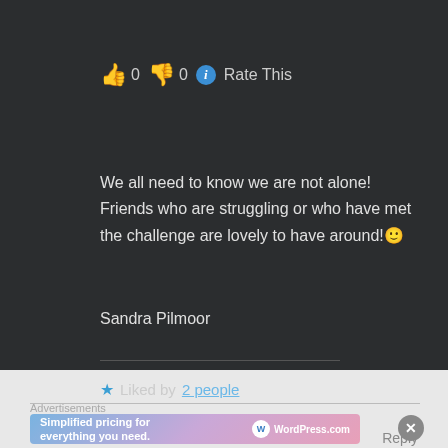👍 0 👎 0 ℹ Rate This
We all need to know we are not alone! Friends who are struggling or who have met the challenge are lovely to have around!🙂
Sandra Pilmoor
★ Liked by 2 people
Reply
Advertisements
[Figure (screenshot): WordPress.com advertisement banner: 'Simplified pricing for everything you need.' with WordPress.com logo on gradient background]